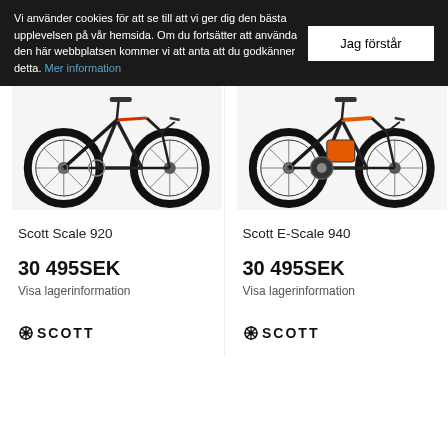Vi använder cookies för att se till att vi ger dig den bästa upplevelsen på vår hemsida. Om du fortsätter att använda den här webbplatsen kommer vi att anta att du godkänner detta. Mer information
Jag förstår
[Figure (photo): Mountain bike Scott Scale 920, black with red accents, shown from left side]
Scott Scale 920
30 495SEK
Visa lagerinformation
[Figure (logo): Scott brand logo]
[Figure (photo): Electric mountain bike Scott E-Scale 940, black with orange accents, shown from left side]
Scott E-Scale 940
30 495SEK
Visa lagerinformation
[Figure (logo): Scott brand logo]